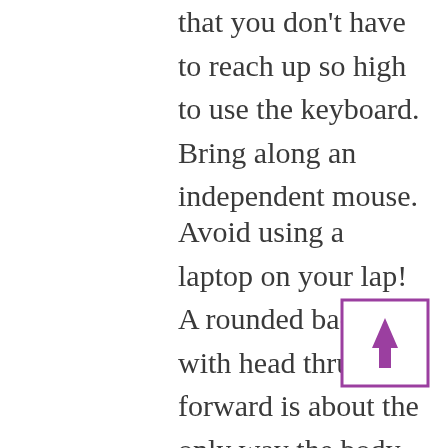that you don't have to reach up so high to use the keyboard. Bring along an independent mouse.
Avoid using a laptop on your lap! A rounded back with head thrust forward is about the only way the body can respond, and this leads to aching back, shoulders, and neck.
When transporting a laptop, use a small carrying case so that it can't fill up with other things that increase the weight. Alternatively, transport the laptop in a